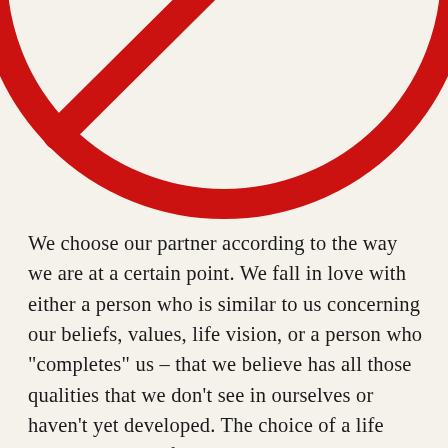[Figure (illustration): Bottom portion of a large red prohibition/no symbol (circle with diagonal line through it), cropped so only the lower half and sides are visible against a cream/off-white background.]
We choose our partner according to the way we are at a certain point. We fall in love with either a person who is similar to us concerning our beliefs, values, life vision, or a person who "completes" us – that we believe has all those qualities that we don't see in ourselves or haven't yet developed. The choice of a life partner is also influenced by our childhood